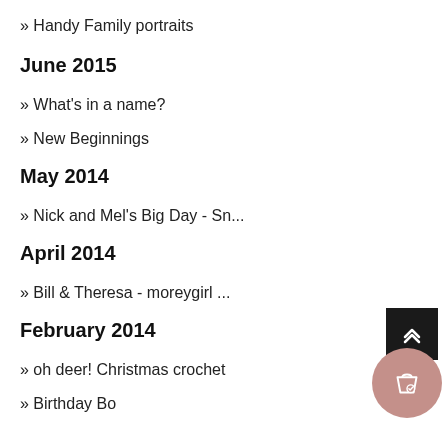» Handy Family portraits
June 2015
» What's in a name?
» New Beginnings
May 2014
» Nick and Mel's Big Day - Sn...
April 2014
» Bill & Theresa - moreygirl ...
February 2014
» oh deer! Christmas crochet
» Birthday Bo